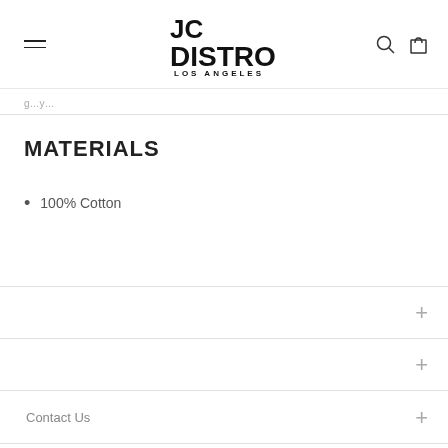[Figure (logo): JC Distro Los Angeles logo in bold black text]
g... y...
MATERIALS
100% Cotton
+
+
Contact Us +